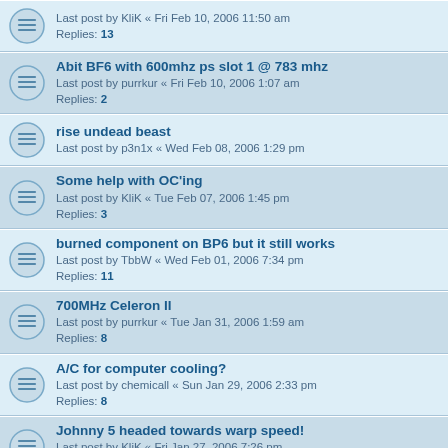Last post by KliK « Fri Feb 10, 2006 11:50 am
Replies: 13
Abit BF6 with 600mhz ps slot 1 @ 783 mhz
Last post by purrkur « Fri Feb 10, 2006 1:07 am
Replies: 2
rise undead beast
Last post by p3n1x « Wed Feb 08, 2006 1:29 pm
Some help with OC'ing
Last post by KliK « Tue Feb 07, 2006 1:45 pm
Replies: 3
burned component on BP6 but it still works
Last post by TbbW « Wed Feb 01, 2006 7:34 pm
Replies: 11
700MHz Celeron II
Last post by purrkur « Tue Jan 31, 2006 1:59 am
Replies: 8
A/C for computer cooling?
Last post by chemicall « Sun Jan 29, 2006 2:33 pm
Replies: 8
Johnny 5 headed towards warp speed!
Last post by KliK « Fri Jan 27, 2006 7:26 pm
Replies: 1
what kind of power supply do i need
Last post by Wolfram « Tue Jan 24, 2006 4:20 am
Replies: 16
CAS2 Ram help
Last post by KliK « Sun Jan 22, 2006 12:57 pm
Replies: 2